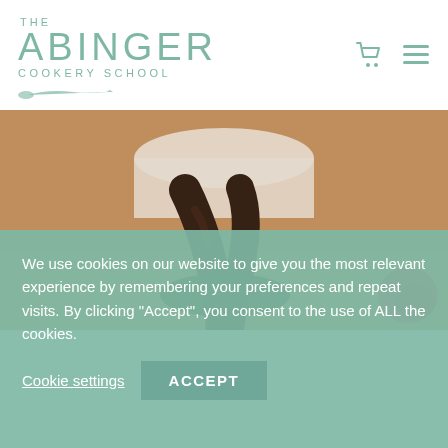[Figure (logo): The Abinger Cookery School logo with knife illustration in sage green]
[Figure (photo): Close-up photo of dark chocolate sauce being poured from a spoon onto a chocolate surface, with a red element in the corner]
We use cookies on our website to give you the most relevant experience by remembering your preferences and repeat visits. By clicking “Accept”, you consent to the use of ALL the cookies.
Cookie settings
ACCEPT